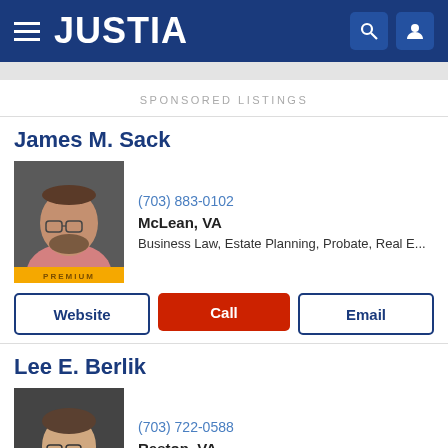JUSTIA
SPONSORED LISTINGS
James M. Sack
[Figure (photo): Headshot of James M. Sack, middle-aged man with glasses and beard, wearing pink shirt, gray background. PREMIUM badge at bottom.]
(703) 883-0102
McLean, VA
Business Law, Estate Planning, Probate, Real E...
Website  Call  Email
Lee E. Berlik
[Figure (photo): Headshot of Lee E. Berlik, man with glasses, smiling, wearing blue shirt, dark background.]
(703) 722-0588
Reston, VA